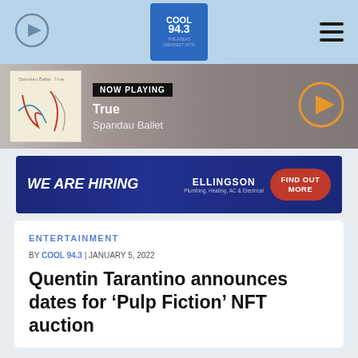[Figure (screenshot): Radio station website screenshot showing Cool 94.3 logo in top navigation bar with play button and hamburger menu]
[Figure (screenshot): Now Playing bar showing album art for 'True' by Spandau Ballet with orange play button]
[Figure (screenshot): Advertisement banner: WE ARE HIRING - ELLINGSON Plumbing, Heating, AC & Electrical - FIND OUT MORE]
ENTERTAINMENT
BY COOL 94.3 | JANUARY 5, 2022
Quentin Tarantino announces dates for ‘Pulp Fiction’ NFT auction